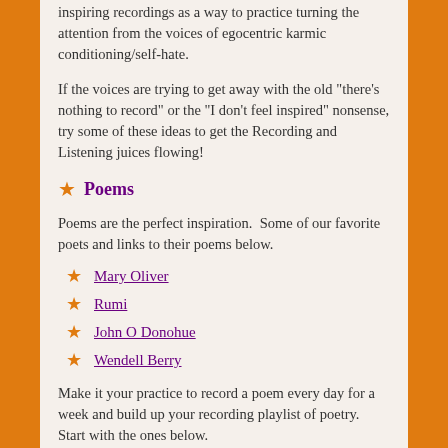inspiring recordings as a way to practice turning the attention from the voices of egocentric karmic conditioning/self-hate.
If the voices are trying to get away with the old "there's nothing to record" or the "I don't feel inspired" nonsense, try some of these ideas to get the Recording and Listening juices flowing!
Poems
Poems are the perfect inspiration.  Some of our favorite poets and links to their poems below.
Mary Oliver
Rumi
John O Donohue
Wendell Berry
Make it your practice to record a poem every day for a week and build up your recording playlist of poetry. Start with the ones below.